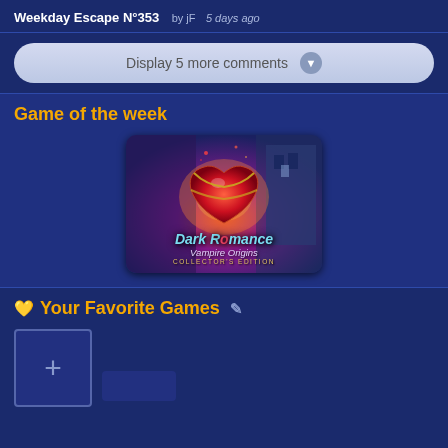Weekday Escape N°353 by jF 5 days ago
Display 5 more comments
Game of the week
[Figure (illustration): Dark Romance Vampire Origins Collector's Edition game cover art showing a glowing red heart wrapped in gold chains with castle background]
Your Favorite Games
[Figure (other): Add favorite games placeholder box with plus icon]